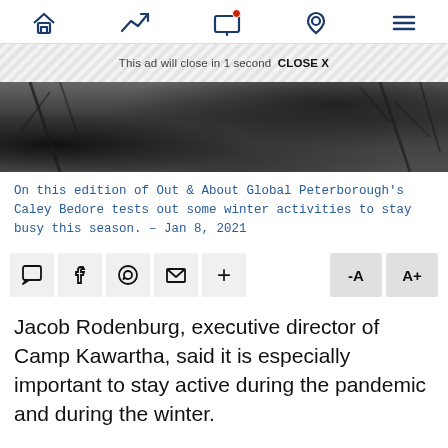Navigation bar with home, trending, screen/notification, location, and menu icons
[Figure (screenshot): Ad banner area with hatched background showing 'This ad will close in 1 second  CLOSE X' text]
[Figure (photo): Dark grayscale hero image showing winter outdoor scene with trees/branches]
On this edition of Out & About Global Peterborough's Caley Bedore tests out some winter activities to stay busy this season. – Jan 8, 2021
[Figure (infographic): Social sharing and font size action bar with comment, Facebook, WhatsApp, email, plus, -A and A+ buttons]
Jacob Rodenburg, executive director of Camp Kawartha, said it is especially important to stay active during the pandemic and during the winter.